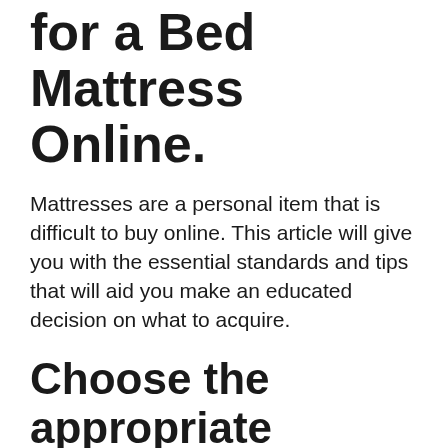for a Bed Mattress Online.
Mattresses are a personal item that is difficult to buy online. This article will give you with the essential standards and tips that will aid you make an educated decision on what to acquire.
Choose the appropriate dimension for your bed:.
The first thing you need to do is determine your bed and afterwards try to find mattresses that are readily available in those dimensions. If you can't find a bed mattress in the dimension of your bed, then search for